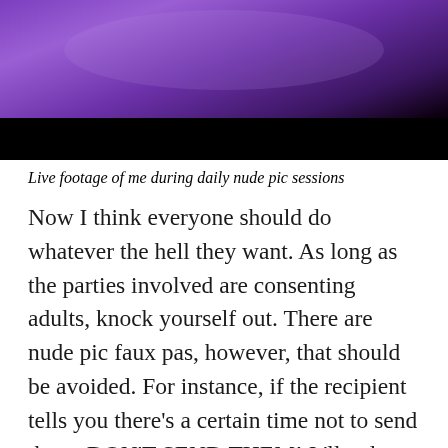[Figure (photo): A bedroom scene with purple/violet lighting, partially visible person on a bed with white sheets, bottom portion of image is a black bar.]
Live footage of me during daily nude pic sessions
Now I think everyone should do whatever the hell they want. As long as the parties involved are consenting adults, knock yourself out. There are nude pic faux pas, however, that should be avoided. For instance, if the recipient tells you there’s a certain time not to send them. DON’T SEND THEM! It’ll only backfire, trust me. Two of my professors have seen jerk off vids by accident because a guy didn’t follow